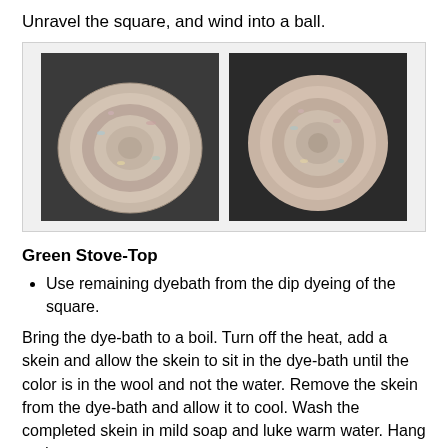Unravel the square, and wind into a ball.
[Figure (photo): Two photos of yarn wound into balls, showing multicolored pastel yarn (pink, blue, yellow) from two different angles.]
Green Stove-Top
Use remaining dyebath from the dip dyeing of the square.
Bring the dye-bath to a boil. Turn off the heat, add a skein and allow the skein to sit in the dye-bath until the color is in the wool and not the water. Remove the skein from the dye-bath and allow it to cool. Wash the completed skein in mild soap and luke warm water. Hang to dry.
[Figure (photo): Two photos at the bottom of the page showing yarn skeins after dyeing, partially visible.]